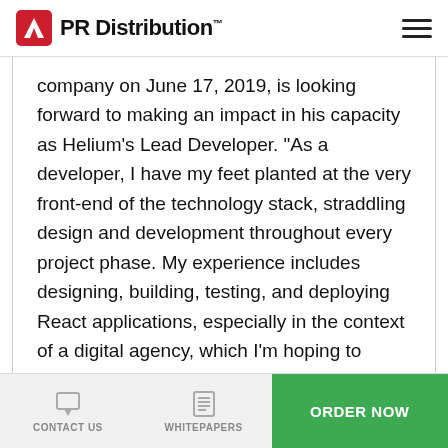PR Distribution™
company on June 17, 2019, is looking forward to making an impact in his capacity as Helium's Lead Developer. "As a developer, I have my feet planted at the very front-end of the technology stack, straddling design and development throughout every project phase. My experience includes designing, building, testing, and deploying React applications, especially in the context of a digital agency, which I'm hoping to share and build on with the Helium team.
CONTACT US   WHITEPAPERS   ORDER NOW